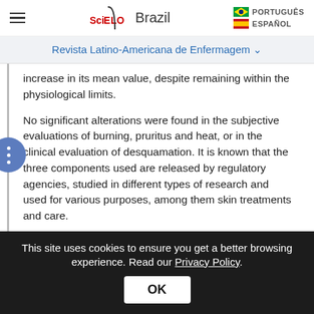SciELO Brazil | PORTUGUÊS | ESPAÑOL
Revista Latino-Americana de Enfermagem
increase in its mean value, despite remaining within the physiological limits.
No significant alterations were found in the subjective evaluations of burning, pruritus and heat, or in the clinical evaluation of desquamation. It is known that the three components used are released by regulatory agencies, studied in different types of research and used for various purposes, among them skin treatments and care.
Chamomile extract was evaluated for toxicity,
This site uses cookies to ensure you get a better browsing experience. Read our Privacy Policy. OK